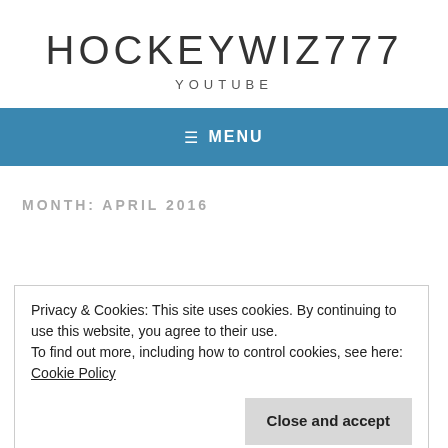HOCKEYWIZ777
YOUTUBE
≡  MENU
MONTH: APRIL 2016
Privacy & Cookies: This site uses cookies. By continuing to use this website, you agree to their use.
To find out more, including how to control cookies, see here: Cookie Policy
Close and accept